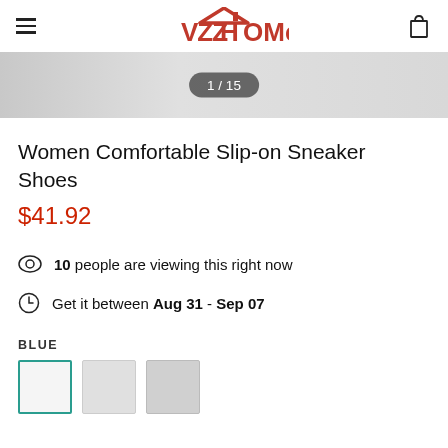VZZHOMe
[Figure (photo): Product image strip showing sneaker shoe, partially visible, with image counter overlay showing '1 / 15']
Women Comfortable Slip-on Sneaker Shoes
$41.92
10 people are viewing this right now
Get it between Aug 31 - Sep 07
BLUE
[Figure (illustration): Three color swatches: first selected with teal border (white/light), second light gray, third medium gray]